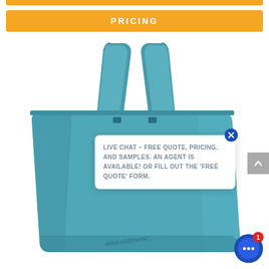PRICING
[Figure (photo): A teal/blue-green reusable tote bag with handles, printed with 'www.visitmexic...' on the side, displayed against a white background.]
LIVE CHAT – FREE QUOTE, PRICING, AND SAMPLES. AN AGENT IS AVAILABLE! OR FILL OUT THE 'FREE QUOTE' FORM.